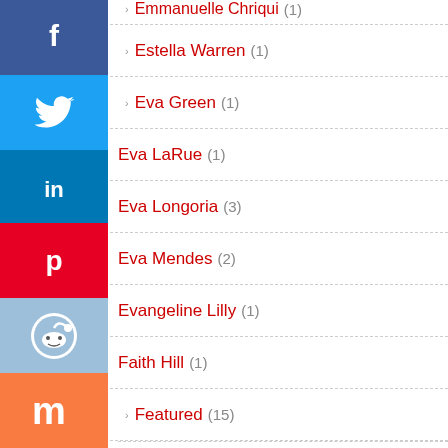Estella Warren (1)
Eva Green (1)
Eva LaRue (1)
Eva Longoria (3)
Eva Mendes (2)
Evangeline Lilly (1)
Faith Hill (1)
Featured (15)